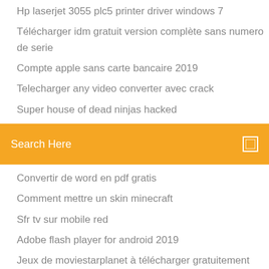Hp laserjet 3055 plc5 printer driver windows 7
Télécharger idm gratuit version complète sans numero de serie
Compte apple sans carte bancaire 2019
Telecharger any video converter avec crack
Super house of dead ninjas hacked
Search Here
Convertir de word en pdf gratis
Comment mettre un skin minecraft
Sfr tv sur mobile red
Adobe flash player for android 2019
Jeux de moviestarplanet à télécharger gratuitement
Emulateur ds multijoueur pc
How to do a screenshot in windows 7 home premium
Firefox mac 10.5 8 télécharger
Outil gestion de stock open source
Football strike - multiplayer soccer miniclip